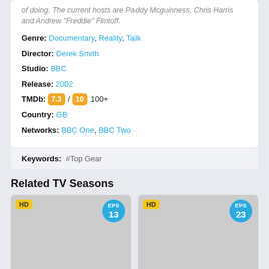of doing. The current hosts are Paddy Mcguinness, Chris Harris and Andrew "Freddie" Flintoff.
Genre: Documentary, Reality, Talk
Director: Derek Smith
Studio: BBC
Release: 2002
TMDb: 7.3 / 10 100+
Country: GB
Networks: BBC One, BBC Two
Keywords: #Top Gear
Related TV Seasons
[Figure (other): Season card with HD badge and EPS 13 badge, grey placeholder image]
[Figure (other): Season card with HD badge and EPS 23 badge, grey placeholder image]